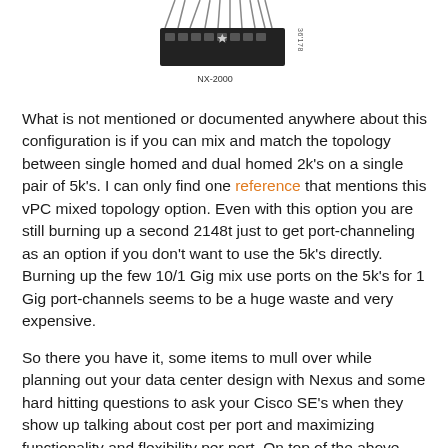[Figure (schematic): Network diagram showing an NX-2000 device with cable connections at top, partially visible at the top of the page. A rotated label reads '36'178' on the right side.]
What is not mentioned or documented anywhere about this configuration is if you can mix and match the topology between single homed and dual homed 2k's on a single pair of 5k's. I can only find one reference that mentions this vPC mixed topology option. Even with this option you are still burning up a second 2148t just to get port-channeling as an option if you don't want to use the 5k's directly. Burning up the few 10/1 Gig mix use ports on the 5k's for 1 Gig port-channels seems to be a huge waste and very expensive.
So there you have it, some items to mull over while planning out your data center design with Nexus and some hard hitting questions to ask your Cisco SE's when they show up talking about cost per port and maximizing functionality and flexibility per port. On top of the above items the 2148t also only does 1Gig, it doesn't support 10/100 at all, not a show stopper but another nagging item that limits some deployments. Don't get me wrong, I'm a fan of the new data